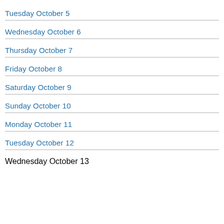Tuesday October 5
Wednesday October 6
Thursday October 7
Friday October 8
Saturday October 9
Sunday October 10
Monday October 11
Tuesday October 12
Wednesday October 13